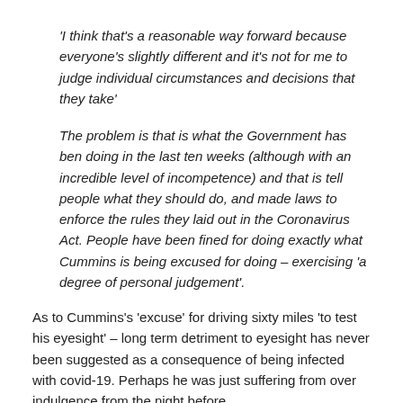'I think that's a reasonable way forward because everyone's slightly different and it's not for me to judge individual circumstances and decisions that they take'
The problem is that is what the Government has ben doing in the last ten weeks (although with an incredible level of incompetence) and that is tell people what they should do, and made laws to enforce the rules they laid out in the Coronavirus Act. People have been fined for doing exactly what Cummins is being excused for doing – exercising 'a degree of personal judgement'.
As to Cummins's 'excuse' for driving sixty miles 'to test his eyesight' – long term detriment to eyesight has never been suggested as a consequence of being infected with covid-19. Perhaps he was just suffering from over indulgence from the night before.
David Jamieson, Police and Crime Commissioner, West Midlands, Radio 4, World at One, 27th May;